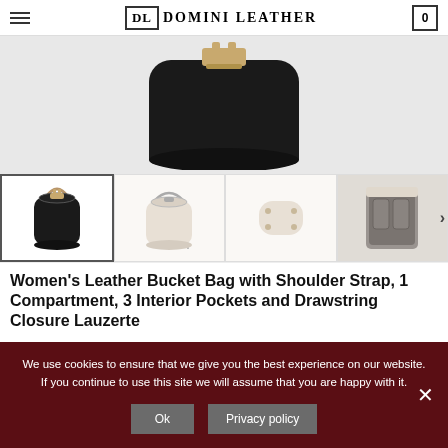DL DOMINI LEATHER | 0
[Figure (photo): Close-up of the top of a black leather bucket bag with gold hardware clasp against a light grey background]
[Figure (photo): Four thumbnail images of a leather bucket bag: 1) black bag front view, 2) cream/beige bag front view, 3) cream bag bottom view, 4) cream bag interior view]
Women's Leather Bucket Bag with Shoulder Strap, 1 Compartment, 3 Interior Pockets and Drawstring Closure Lauzerte
We use cookies to ensure that we give you the best experience on our website. If you continue to use this site we will assume that you are happy with it.
Ok | Privacy policy